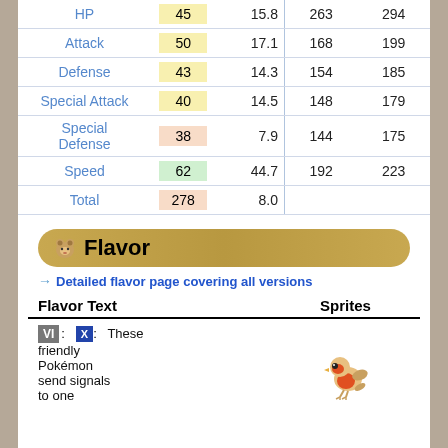|  | Base | % | Min | Max |
| --- | --- | --- | --- | --- |
| HP | 45 | 15.8 | 263 | 294 |
| Attack | 50 | 17.1 | 168 | 199 |
| Defense | 43 | 14.3 | 154 | 185 |
| Special Attack | 40 | 14.5 | 148 | 179 |
| Special Defense | 38 | 7.9 | 144 | 175 |
| Speed | 62 | 44.7 | 192 | 223 |
| Total | 278 | 8.0 |  |  |
Flavor
→ Detailed flavor page covering all versions
| Flavor Text | Sprites |
| --- | --- |
| VI: X: These friendly Pokémon send signals to one another by flashing the bright-red pouches on their cheeks. |  |